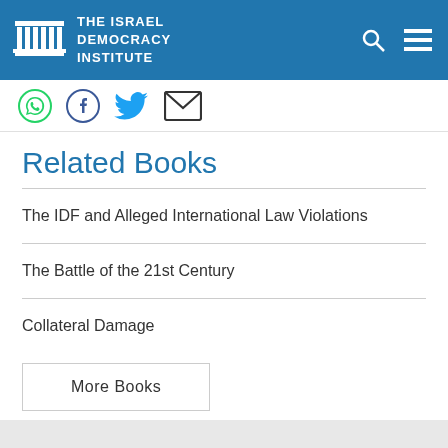[Figure (logo): The Israel Democracy Institute logo with white columns icon and text on blue background, with search and menu icons]
[Figure (infographic): Social sharing icons: WhatsApp (green), Facebook (dark blue), Twitter (light blue), Email (envelope)]
Related Books
The IDF and Alleged International Law Violations
The Battle of the 21st Century
Collateral Damage
More Books